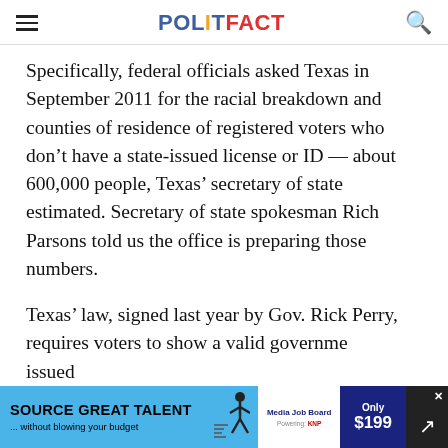POLITIFACT
Specifically, federal officials asked Texas in September 2011 for the racial breakdown and counties of residence of registered voters who don’t have a state-issued license or ID –– about 600,000 people, Texas’ secretary of state estimated. Secretary of state spokesman Rich Parsons told us the office is preparing those numbers.
Texas’ law, signed last year by Gov. Rick Perry, requires voters to show a valid government-issued
[Figure (screenshot): Advertisement banner: SOURCE GREAT TALENT ... without blowing your budget, Media Job Board, Only $199]